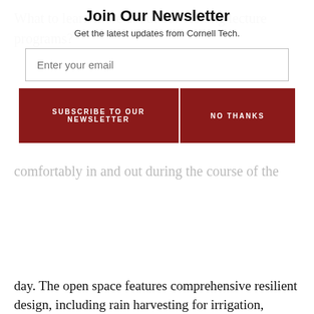Join Our Newsletter
Get the latest updates from Cornell Tech.
Enter your email
SUBSCRIBE TO OUR NEWSLETTER
NO THANKS
day. The open space features comprehensive resilient design, including rain harvesting for irrigation, subterranean gravel trenches that hold and slow down stormwater; a series of bio-filtration gardens that treat stormwater runoff non-mechanically before it enters the river; and a geothermal field that provides energy to The Bloomberg Center.
“With Cornell Tech’s new campus, we have been able to integrate technology, sustainability, and landscape architecture to create a unique urban campus,” said Karen Tamir, James Corner Field